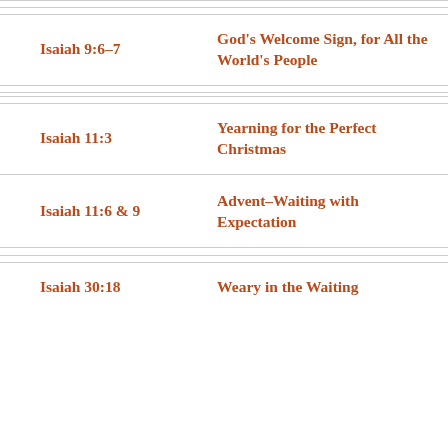| Reference | Title |
| --- | --- |
| Isaiah 9:6–7 | God's Welcome Sign, for All the World's People |
| Isaiah 11:3 | Yearning for the Perfect Christmas |
| Isaiah 11:6 & 9 | Advent–Waiting with Expectation |
| Isaiah 30:18 | Weary in the Waiting |